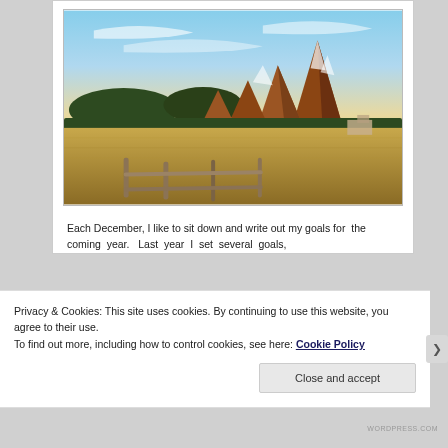[Figure (photo): Photograph of the Flatirons rock formation near Boulder, Colorado. Dramatic red/orange angled rock faces rise against a blue sky with clouds. Foreground shows dry golden grassland and a split-rail wooden fence. Trees visible on foothills.]
Each December, I like to sit down and write out my goals for the coming year.  Last year I set several goals,
Privacy & Cookies: This site uses cookies. By continuing to use this website, you agree to their use.
To find out more, including how to control cookies, see here: Cookie Policy
Close and accept
WORDPRESS.COM